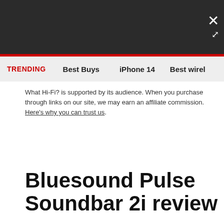TRENDING   Best Buys   iPhone 14   Best wirel
What Hi-Fi? is supported by its audience. When you purchase through links on our site, we may earn an affiliate commission. Here's why you can trust us.
Bluesound Pulse Soundbar 2i review